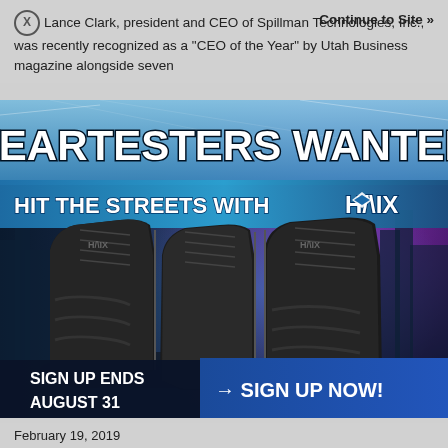Lance Clark, president and CEO of Spillman Technologies, Inc., was recently recognized as a "CEO of the Year" by Utah Business magazine alongside seven
Continue to Site »
[Figure (illustration): Advertisement for HAIX boots. Dark background with city skyline and purple/blue neon lighting. Large bold text reads 'WEARTESTERS WANTED!' with smaller text 'HIT THE STREETS WITH HAIX'. Two black tactical/police boots displayed prominently. Bottom section shows 'SIGN UP ENDS AUGUST 31' on the left and '→ SIGN UP NOW!' button on the right on a dark navy background.]
February 19, 2019